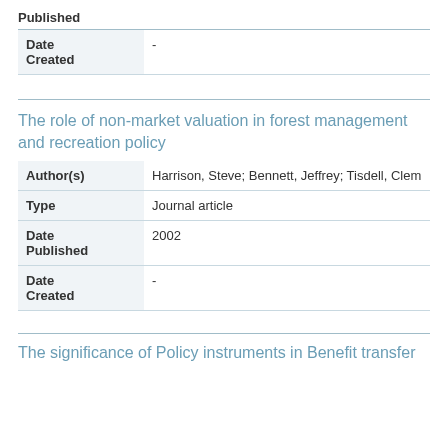Published
| Field | Value |
| --- | --- |
| Date Created | - |
The role of non-market valuation in forest management and recreation policy
| Field | Value |
| --- | --- |
| Author(s) | Harrison, Steve; Bennett, Jeffrey; Tisdell, Clem |
| Type | Journal article |
| Date Published | 2002 |
| Date Created | - |
The significance of Policy instruments in Benefit transfer